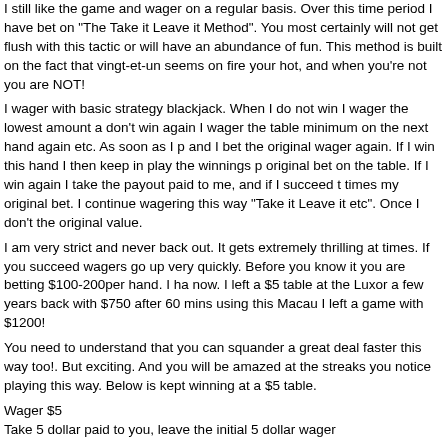I still like the game and wager on a regular basis. Over this time period I have bet on "The Take it Leave it Method". You most certainly will not get flush with this tactic or will have an abundance of fun. This method is built on the fact that vingt-et-un seems on fire your hot, and when you're not you are NOT!
I wager with basic strategy blackjack. When I do not win I wager the lowest amount a don't win again I wager the table minimum on the next hand again etc. As soon as I p and I bet the original wager again. If I win this hand I then keep in play the winnings p original bet on the table. If I win again I take the payout paid to me, and if I succeed t times my original bet. I continue wagering this way "Take it Leave it etc". Once I don't the original value.
I am very strict and never back out. It gets extremely thrilling at times. If you succeed wagers go up very quickly. Before you know it you are betting $100-200per hand. I ha now. I left a $5 table at the Luxor a few years back with $750 after 60 mins using this Macau I left a game with $1200!
You need to understand that you can squander a great deal faster this way too!. But exciting. And you will be amazed at the streaks you notice playing this way. Below is kept winning at a $5 table.
Wager $5
Take 5 dollar paid to you, leave the initial 5 dollar wager
Wager $5
Leave five dollar paid-out to you for a total bet of $10
Wager 10 dollar
Take $10 paid-out to you, leave the initial ten dollar bet